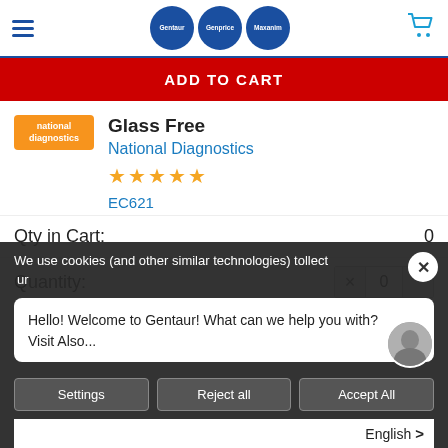Gentaur / Genprice / Maxanim logos and navigation
ADD TO CART
Glass Free
National Diagnostics
★★★★★
EC621
Qty in Cart: 0
Quantity:
We use cookies (and other similar technologies) to collect
Hello! Welcome to Gentaur! What can we help you with?
Visit Also...
Settings   Reject all   Accept All
English >